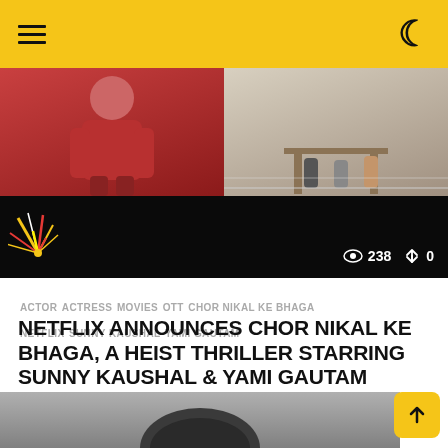≡  (moon icon)
[Figure (photo): Thumbnail image showing two panels: left shows a woman in a red outfit, right shows a seated scene. Below is a dark band with sparkle/burst graphic on left and view count '238' and share count '0' on right.]
ACTOR  ACTRESS  MOVIES  OTT  CHOR NIKAL KE BHAGA  NETFLIX  SUNNY KAUSHAL  YAMI GAUTAM
NETFLIX ANNOUNCES CHOR NIKAL KE BHAGA, A HEIST THRILLER STARRING SUNNY KAUSHAL & YAMI GAUTAM
₹138.81 ▼
by Sanjana Chavan
[Figure (photo): Partial bottom image showing the top of a person's head in grayscale.]